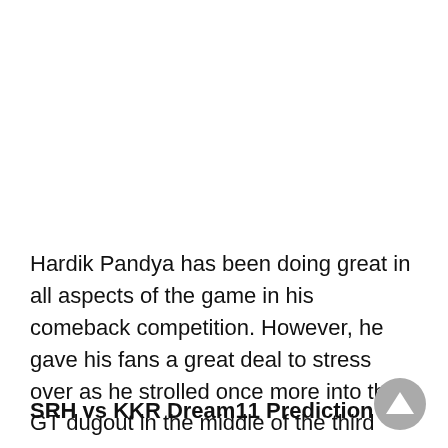Hardik Pandya has been doing great in all aspects of the game in his comeback competition. However, he gave his fans a great deal to stress over as he strolled once more into the GT dugout in the middle of the third over.
SRH vs KKR Dream11 Prediction